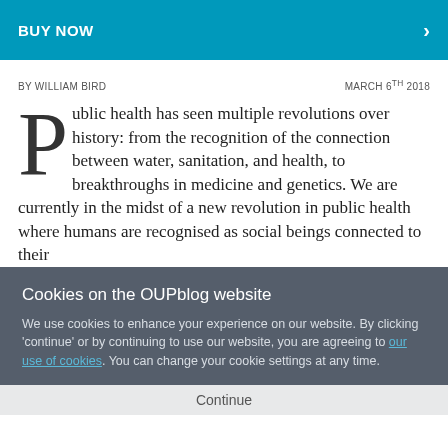[Figure (other): Blue BUY NOW banner button with right arrow]
BY WILLIAM BIRD   MARCH 6TH 2018
Public health has seen multiple revolutions over history: from the recognition of the connection between water, sanitation, and health, to breakthroughs in medicine and genetics. We are currently in the midst of a new revolution in public health where humans are recognised as social beings connected to their
Cookies on the OUPblog website
We use cookies to enhance your experience on our website. By clicking 'continue' or by continuing to use our website, you are agreeing to our use of cookies. You can change your cookie settings at any time.
Continue